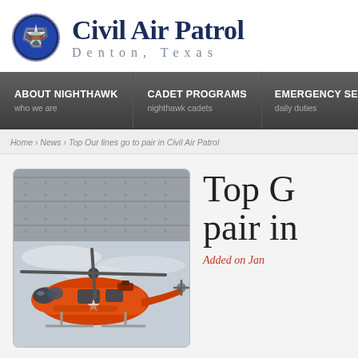Civil Air Patrol Denton, Texas
ABOUT NIGHTHAWK who we are | CADET PROGRAMS nighthawk cadets | EMERGENCY SERVICES daily duties | AEROSPA...
Home > News > Top Our lines go to pair in Civil Air Patrol
[Figure (photo): Orange Coast Guard helicopter flying in the air, viewed from below at an angle showing underside of aircraft and rotors]
Top C... pair in...
Added on Jan